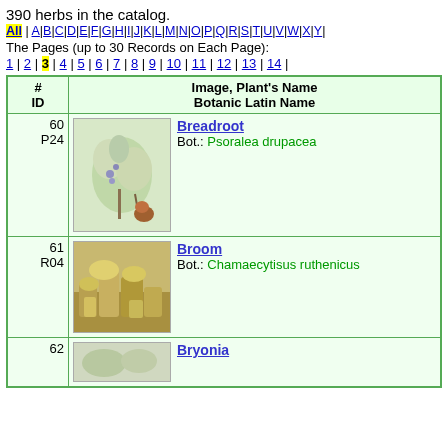390 herbs in the catalog.
All | A | B | C | D | E | F | G | H | I | J | K | L | M | N | O | P | Q | R | S | T | U | V | W | X | Y |
The Pages (up to 30 Records on Each Page):
1 | 2 | 3 | 4 | 5 | 6 | 7 | 8 | 9 | 10 | 11 | 12 | 13 | 14 |
| # ID | Image, Plant's Name / Botanic Latin Name |
| --- | --- |
| 60 P24 | Breadroot / Bot.: Psoralea drupacea |
| 61 R04 | Broom / Bot.: Chamaecytisus ruthenicus |
| 62 | Bryonia |